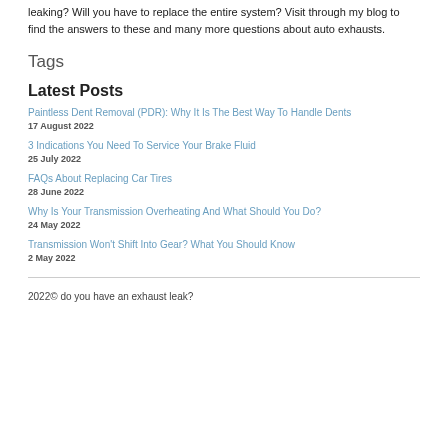leaking? Will you have to replace the entire system? Visit through my blog to find the answers to these and many more questions about auto exhausts.
Tags
Latest Posts
Paintless Dent Removal (PDR): Why It Is The Best Way To Handle Dents
17 August 2022
3 Indications You Need To Service Your Brake Fluid
25 July 2022
FAQs About Replacing Car Tires
28 June 2022
Why Is Your Transmission Overheating And What Should You Do?
24 May 2022
Transmission Won't Shift Into Gear? What You Should Know
2 May 2022
2022© do you have an exhaust leak?